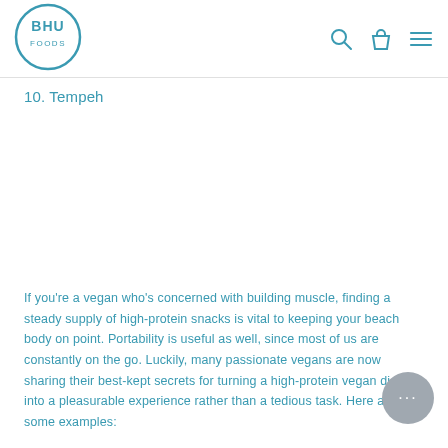[Figure (logo): BHU Foods circular logo with text BHU FOODS in teal/blue]
10.  Tempeh
If you're a vegan who's concerned with building muscle, finding a steady supply of high-protein snacks is vital to keeping your beach body on point. Portability is useful as well, since most of us are constantly on the go. Luckily, many passionate vegans are now sharing their best-kept secrets for turning a high-protein vegan diet into a pleasurable experience rather than a tedious task. Here are some examples: